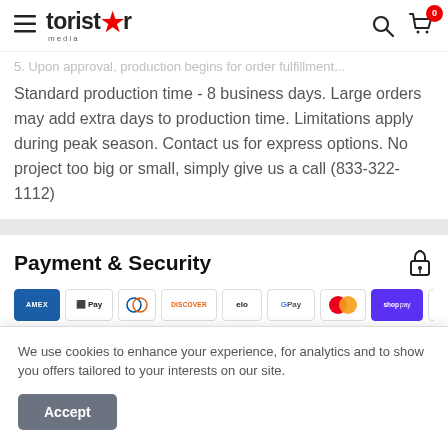toristar media — navigation header with search and cart
5. Upon approval, production begins for order fulfillment.
Standard production time - 8 business days. Large orders may add extra days to production time. Limitations apply during peak season. Contact us for express options. No project too big or small, simply give us a call (833-322-1112)
Payment & Security
[Figure (other): Payment method icons: Amex, Apple Pay, Diners, Discover, Elo, Google Pay, Mastercard, Shop Pay, Visa]
We use cookies to enhance your experience, for analytics and to show you offers tailored to your interests on our site.